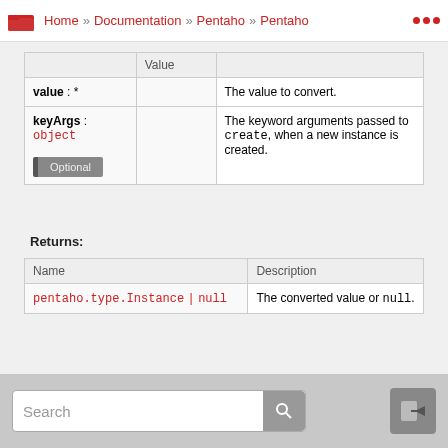Home » Documentation » Pentaho » Pentaho
|  | Value |  |
| --- | --- | --- |
| value : * |  | The value to convert. |
| keyArgs : object
Optional |  | The keyword arguments passed to create, when a new instance is created. |
Returns:
| Name | Description |
| --- | --- |
| pentaho.type.Instance | null | The converted value or null. |
toJSON() : JsonValue
Search